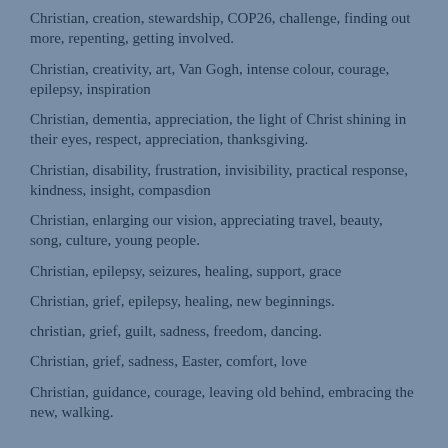Christian, creation, stewardship, COP26, challenge, finding out more, repenting, getting involved.
Christian, creativity, art, Van Gogh, intense colour, courage, epilepsy, inspiration
Christian, dementia, appreciation, the light of Christ shining in their eyes, respect, appreciation, thanksgiving.
Christian, disability, frustration, invisibility, practical response, kindness, insight, compasdion
Christian, enlarging our vision, appreciating travel, beauty, song, culture, young people.
Christian, epilepsy, seizures, healing, support, grace
Christian, grief, epilepsy, healing, new beginnings.
christian, grief, guilt, sadness, freedom, dancing.
Christian, grief, sadness, Easter, comfort, love
Christian, guidance, courage, leaving old behind, embracing the new, walking.